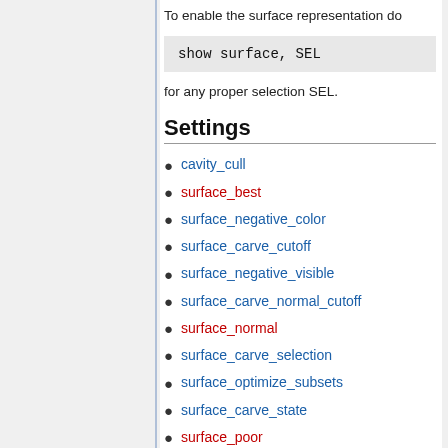To enable the surface representation do
for any proper selection SEL.
Settings
cavity_cull
surface_best
surface_negative_color
surface_carve_cutoff
surface_negative_visible
surface_carve_normal_cutoff
surface_normal
surface_carve_selection
surface_optimize_subsets
surface_carve_state
surface_poor
surface_circumscribe